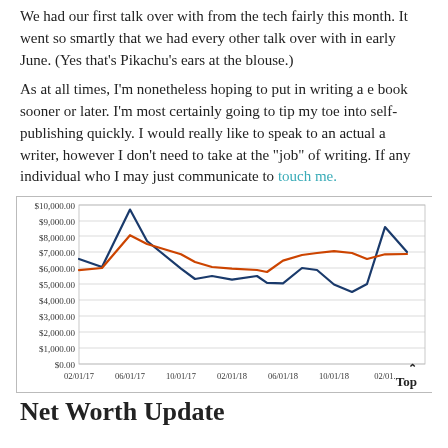We had our first talk over with from the tech fairly this month. It went so smartly that we had every other talk over with in early June. (Yes that's Pikachu's ears at the blouse.)
As at all times, I'm nonetheless hoping to put in writing a e book sooner or later. I'm most certainly going to tip my toe into self-publishing quickly. I would really like to speak to an actual a writer, however I don't need to take at the "job" of writing. If any individual who I may just communicate to touch me.
[Figure (line-chart): ]
Net Worth Update